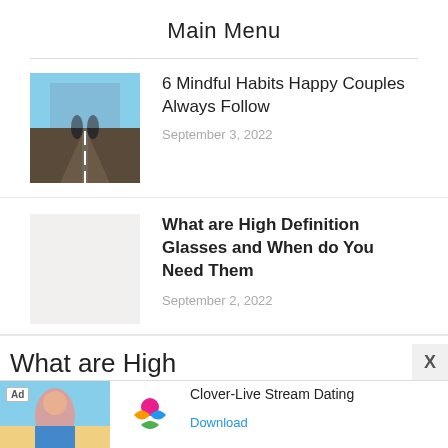Main Menu
6 Mindful Habits Happy Couples Always Follow
September 3, 2022
What are High Definition Glasses and When do You Need Them
September 2, 2022
What are High
Definition Gl...
[Figure (photo): Ad banner: Clover-Live Stream Dating app advertisement with woman on beach and app icon]
Ad
Clover-Live Stream Dating
Download